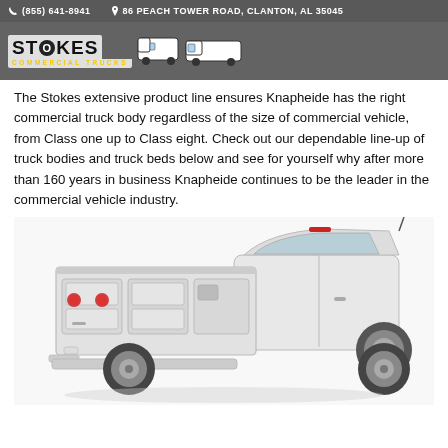(855) 641-8941   86 PEACH TOWER ROAD, CLANTON, AL 35045
[Figure (logo): Stokes Commercial Trucks logo with white delivery trucks graphic]
The Stokes extensive product line ensures Knapheide has the right commercial truck body regardless of the size of commercial vehicle, from Class one up to Class eight. Check out our dependable line-up of truck bodies and truck beds below and see for yourself why after more than 160 years in business Knapheide continues to be the leader in the commercial vehicle industry.
[Figure (photo): White utility truck with service body/toolbox bed, rear three-quarter view on white background]